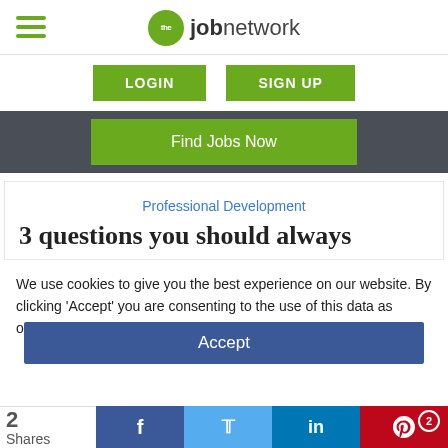the jobnetwork - hamburger menu, LOGIN, SIGN UP, Find Jobs Now
Professional Development
3 questions you should always
We use cookies to give you the best experience on our website. By clicking 'Accept' you are consenting to the use of this data as outlined in our Privacy and Cookie Policy.
Accept
2 Shares - Facebook, Twitter, LinkedIn, Pinterest (2)